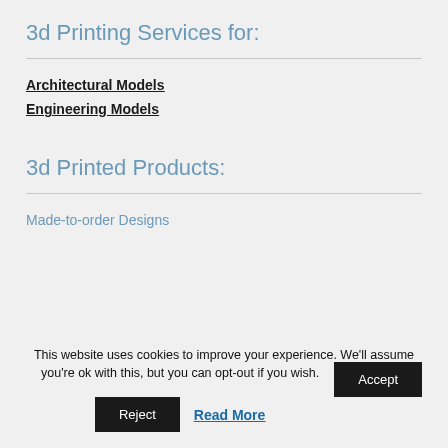3d Printing Services for:
Architectural Models
Engineering Models
3d Printed Products:
Made-to-order Designs
This website uses cookies to improve your experience. We'll assume you're ok with this, but you can opt-out if you wish.
Accept
Reject
Read More